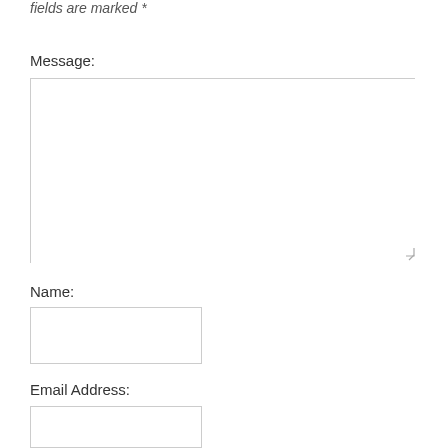fields are marked *
Message:
[Figure (other): Empty textarea input field for message]
Name:
[Figure (other): Empty text input field for name]
Email Address:
[Figure (other): Empty text input field for email address]